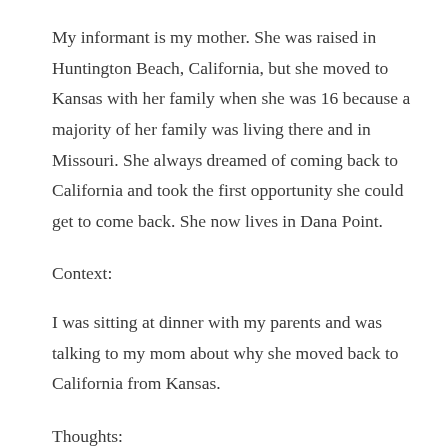My informant is my mother. She was raised in Huntington Beach, California, but she moved to Kansas with her family when she was 16 because a majority of her family was living there and in Missouri. She always dreamed of coming back to California and took the first opportunity she could get to come back. She now lives in Dana Point.
Context:
I was sitting at dinner with my parents and was talking to my mom about why she moved back to California from Kansas.
Thoughts:
This tradition in my mother's community shines a light on smaller local contexts in which people seek entertainment.